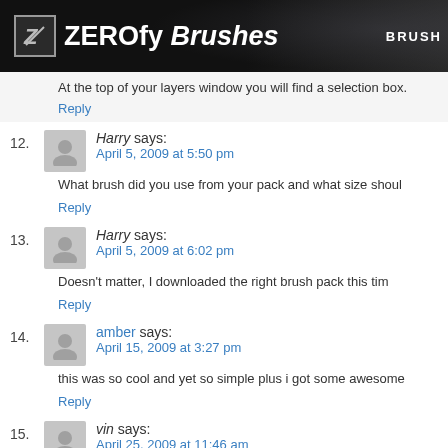ZEROfy Brushes | BRUSH
At the top of your layers window you will find a selection box.
Reply
12. Harry says: April 5, 2009 at 5:50 pm
What brush did you use from your pack and what size shoul
Reply
13. Harry says: April 5, 2009 at 6:02 pm
Doesn't matter, I downloaded the right brush pack this tim
Reply
14. amber says: April 15, 2009 at 3:27 pm
this was so cool and yet so simple plus i got some awesome
Reply
15. vin says: April 25, 2009 at 11:46 am